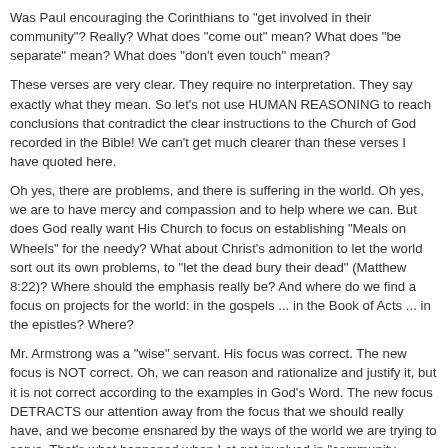Was Paul encouraging the Corinthians to "get involved in their community"? Really? What does "come out" mean? What does "be separate" mean? What does "don't even touch" mean?
These verses are very clear. They require no interpretation. They say exactly what they mean. So let's not use HUMAN REASONING to reach conclusions that contradict the clear instructions to the Church of God recorded in the Bible! We can't get much clearer than these verses I have quoted here.
Oh yes, there are problems, and there is suffering in the world. Oh yes, we are to have mercy and compassion and to help where we can. But does God really want His Church to focus on establishing "Meals on Wheels" for the needy? What about Christ's admonition to let the world sort out its own problems, to "let the dead bury their dead" (Matthew 8:22)? Where should the emphasis really be? And where do we find a focus on projects for the world: in the gospels ... in the Book of Acts ... in the epistles? Where?
Mr. Armstrong was a "wise" servant. His focus was correct. The new focus is NOT correct. Oh, we can reason and rationalize and justify it, but it is not correct according to the examples in God's Word. The new focus DETRACTS our attention away from the focus that we should really have, and we become ensnared by the ways of the world we are trying to serve. That's what happened when Lot got involved in "community projects", remember? That is equally true for us. It all works together, as a package. It is the new administration which has used this phrase "as a package", to refer to all of God's laws. Well, the same is true for our dealings with the world. All of this emphasis on community projects, "as a package", is wrong. And this was predicted in Matthew 24:49.